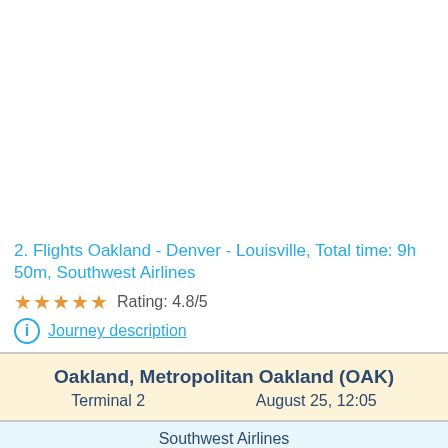2. Flights Oakland - Denver - Louisville, Total time: 9h 50m, Southwest Airlines
Rating: 4.8/5
Journey description
Oakland, Metropolitan Oakland (OAK)
Terminal 2
August 25, 12:05
Southwest Airlines